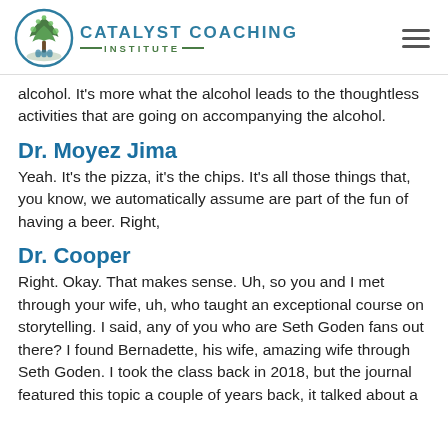[Figure (logo): Catalyst Coaching Institute logo with tree inside a circle and text]
alcohol. It's more what the alcohol leads to the thoughtless activities that are going on accompanying the alcohol.
Dr. Moyez Jima
Yeah. It's the pizza, it's the chips. It's all those things that, you know, we automatically assume are part of the fun of having a beer. Right,
Dr. Cooper
Right. Okay. That makes sense. Uh, so you and I met through your wife, uh, who taught an exceptional course on storytelling. I said, any of you who are Seth Goden fans out there? I found Bernadette, his wife, amazing wife through Seth Goden. I took the class back in 2018, but the journal featured this topic a couple of years back, it talked about a